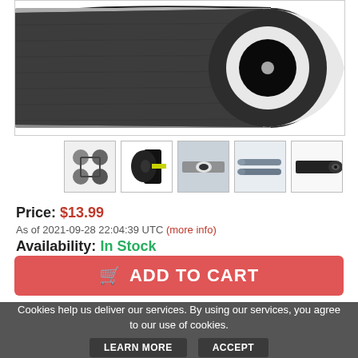[Figure (photo): Close-up of a dark gray foam-wrapped pipe/hose with a white inner lining, viewed at an angle showing the cross-section end]
[Figure (photo): Thumbnail 1: Various connector fittings and components]
[Figure (photo): Thumbnail 2: Black cylindrical connector with yellow end]
[Figure (photo): Thumbnail 3: Pipe installed in a setting]
[Figure (photo): Thumbnail 4: Two gray pipes shown side by side]
[Figure (photo): Thumbnail 5: Dark cylindrical pipe end view]
Price: $13.99
As of 2021-09-28 22:04:39 UTC (more info)
Availability: In Stock
ADD TO CART
Cookies help us deliver our services. By using our services, you agree to our use of cookies.
LEARN MORE
ACCEPT